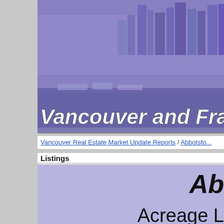[Figure (photo): Purple-tinted skyline photo of Vancouver waterfront with buildings, marina with boats, and water reflection. Text overlay reads 'Vancouver and Fraser Va...' in white italic font.]
Vancouver Real Estate Market Update Reports / Abbotsfo...
Listings
Ab
Acreage L